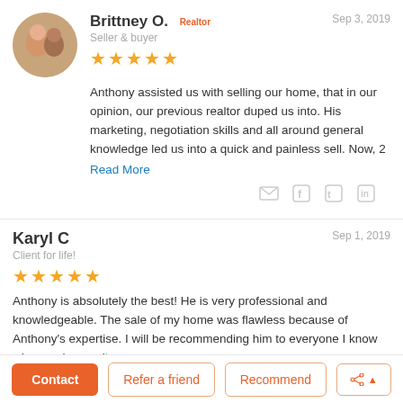[Figure (photo): Circular profile photo of Brittney O., a woman with a man visible behind her]
Brittney O.
Seller & buyer
Sep 3, 2019
[Figure (other): 5 gold stars rating]
Anthony assisted us with selling our home, that in our opinion, our previous realtor duped us into. His marketing, negotiation skills and all around general knowledge led us into a quick and painless sell. Now, 2
Read More
Karyl C
Client for life!
Sep 1, 2019
[Figure (other): 5 gold stars rating]
Anthony is absolutely the best! He is very professional and knowledgeable. The sale of my home was flawless because of Anthony's expertise. I will be recommending him to everyone I know who needs a realtor.
Contact
Refer a friend
Recommend